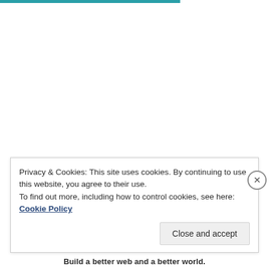Privacy & Cookies: This site uses cookies. By continuing to use this website, you agree to their use.
To find out more, including how to control cookies, see here: Cookie Policy
Close and accept
Build a better web and a better world.